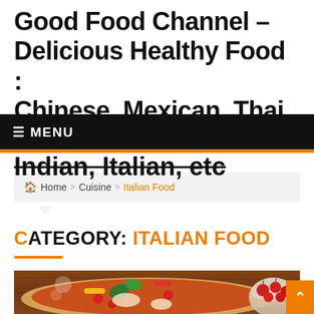Good Food Channel – Delicious Healthy Food : Chinese, Mexican, Thai, Indian, Italian, etc
≡ MENU
🏠 Home > Cuisine > Italian Food
CATEGORY: ITALIAN FOOD
[Figure (photo): Top-down view of Italian pizza with toppings including tomatoes, basil, bell peppers, and cheese on a wooden surface with cherry tomatoes in a bowl]